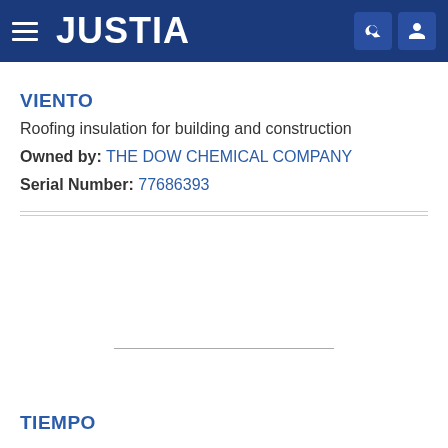JUSTIA
VIENTO
Roofing insulation for building and construction
Owned by: THE DOW CHEMICAL COMPANY
Serial Number: 77686393
TIEMPO